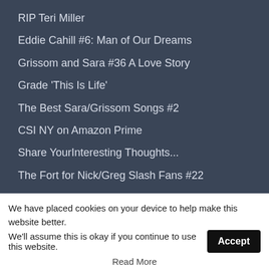RIP Teri Miller
Eddie Cahill #6: Man of Our Dreams
Grissom and Sara #36 A Love Story
Grade 'This Is Life'
The Best Sara/Grissom Songs #2
CSI NY on Amazon Prime
Share YourInteresting Thoughts...
The Fort for Nick/Greg Slash Fans #22
CSI Discord server
We have placed cookies on your device to help make this website better.
We'll assume this is okay if you continue to use this website.
Read More